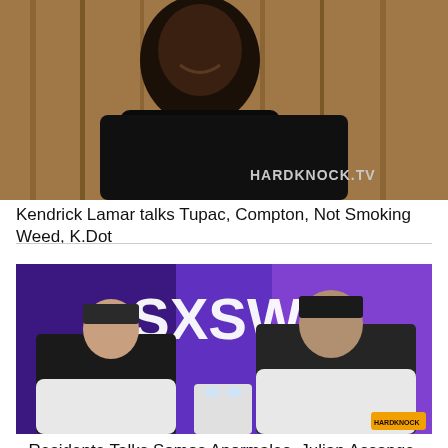[Figure (photo): Photo of Kendrick Lamar smiling, wearing a black hoodie, with HARDKNOCK.TV watermark visible in lower right]
Kendrick Lamar talks Tupac, Compton, Not Smoking Weed, K.Dot
[Figure (photo): Photo of two men seated in white chairs at SXSW event. Purple SXSW backdrop visible. HardKnock.TV watermark in lower right corner.]
Residente Talks Somos Anormales, Julian Assange, Snowden, Milo More...